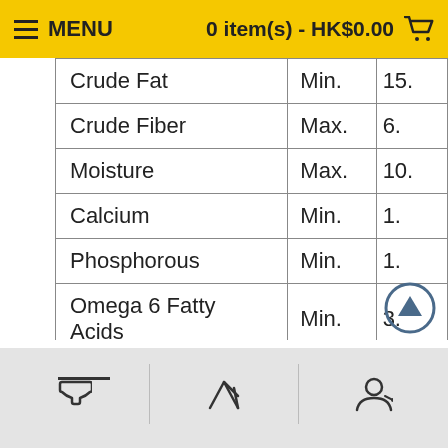MENU   0 item(s) - HK$0.00
|  |  |  |
| --- | --- | --- |
| Crude Fat | Min. | 15. |
| Crude Fiber | Max. | 6. |
| Moisture | Max. | 10. |
| Calcium | Min. | 1. |
| Phosphorous | Min. | 1. |
| Omega 6 Fatty Acids | Min. | 3. |
| Omega 3 Fatty Acids | Min. | 0. |
| Taurine | Min. | 0. |